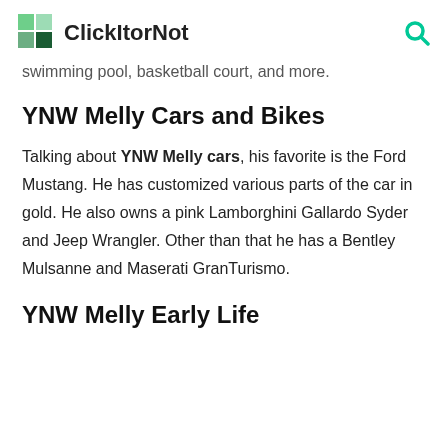ClickItorNot
swimming pool, basketball court, and more.
YNW Melly Cars and Bikes
Talking about YNW Melly cars, his favorite is the Ford Mustang. He has customized various parts of the car in gold. He also owns a pink Lamborghini Gallardo Syder and Jeep Wrangler. Other than that he has a Bentley Mulsanne and Maserati GranTurismo.
YNW Melly Early Life